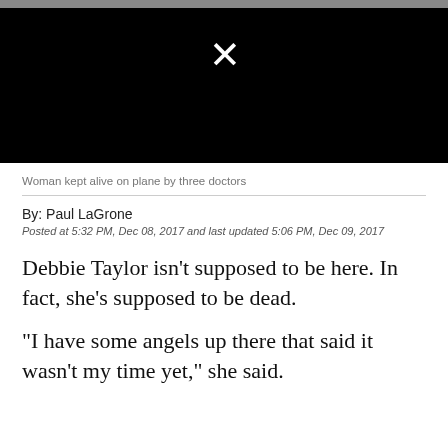[Figure (screenshot): Black video placeholder with a white X mark in the upper center area]
Woman kept alive on plane by three doctors
By: Paul LaGrone
Posted at 5:32 PM, Dec 08, 2017 and last updated 5:06 PM, Dec 09, 2017
Debbie Taylor isn’t supposed to be here. In fact, she's supposed to be dead.
"I have some angels up there that said it wasn’t my time yet," she said.